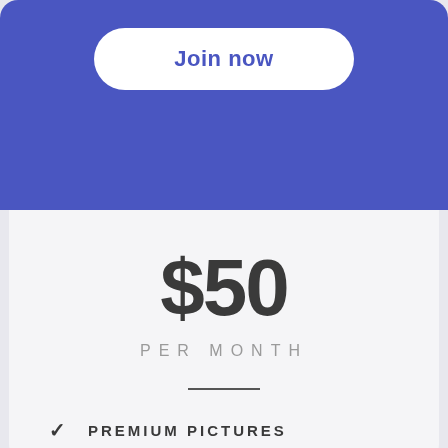[Figure (screenshot): Blue banner section with a white rounded 'Join now' button centered at the top]
$50
PER MONTH
PREMIUM PICTURES